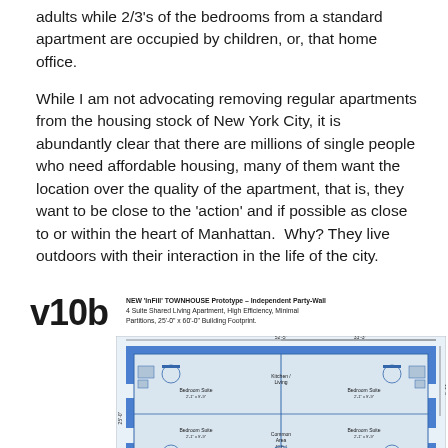adults while 2/3's of the bedrooms from a standard apartment are occupied by children, or, that home office.
While I am not advocating removing regular apartments from the housing stock of New York City, it is abundantly clear that there are millions of single people who need affordable housing, many of them want the location over the quality of the apartment, that is, they want to be close to the 'action' and if possible as close to or within the heart of Manhattan.  Why? They live outdoors with their interaction in the life of the city.
[Figure (engineering-diagram): NEW 'InFill' TOWNHOUSE Prototype - Independent Party-Wall, 4 Suite Shared Living Apartment, High Efficiency, Minimal Partitions, 25'-0" x 60'-0" Building Footprint. Floor plan labeled v10b showing apartment layout with bedroom suites, common area, kitchen, bathrooms.]